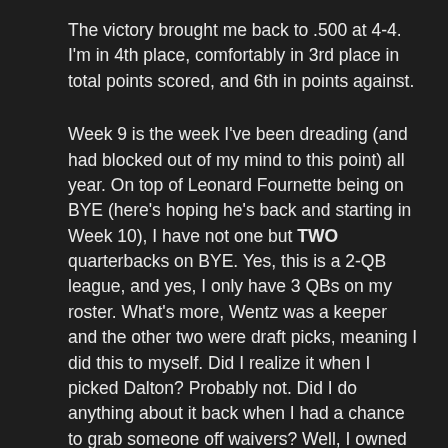The victory brought me back to .500 at 4-4.  I'm in 4th place, comfortably in 3rd place in total points scored, and 6th in points against.
Week 9 is the week I've been dreading (and had blocked out of my mind to this point) all year.  On top of Leonard Fournette being on BYE (here's hoping he's back and starting in Week 10), I have not one but TWO quarterbacks on BYE.  Yes, this is a 2-QB league, and yes, I only have 3 QBs on my roster.  What's more, Wentz was a keeper and the other two were draft picks, meaning I did this to myself.  Did I realize it when I picked Dalton?  Probably not.  Did I do anything about it back when I had a chance to grab someone off waivers?  Well, I owned FitzMagic for a hot minute, but dropped him back when he was benched for Jameis.
You can see where I'm going with this.  By picking up Chris Carson, my waiver priority fell; I was 9th out of 10 teams heading into this week.  Now, luckily I got the win last week, which I absolutely prefer to getting a chance to